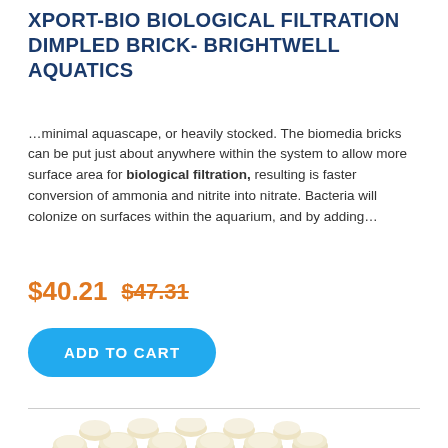XPORT-BIO BIOLOGICAL FILTRATION DIMPLED BRICK- BRIGHTWELL AQUATICS
…minimal aquascape, or heavily stocked. The biomedia bricks can be put just about anywhere within the system to allow more surface area for biological filtration, resulting is faster conversion of ammonia and nitrite into nitrate. Bacteria will colonize on surfaces within the aquarium, and by adding…
$40.21  $47.31
[Figure (other): Blue 'ADD TO CART' rounded button]
[Figure (photo): Photo of a dimpled porous beige/cream ceramic biological filtration brick with rounded bumps on top surface]